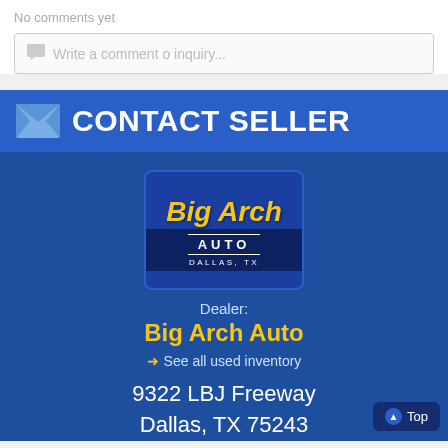No comments yet
Write a comment o inquiry...
CONTACT SELLER
[Figure (logo): Big Arch Auto logo — dark blue background, yellow italic 'Big Arch' text, white 'AUTO' in uppercase with horizontal rules, 'DALLAS, TX' in small caps. Dallas, TX car dealership logo.]
Dealer:
Big Arch Auto
See all used inventory
9322 LBJ Freeway
Dallas, TX 75243